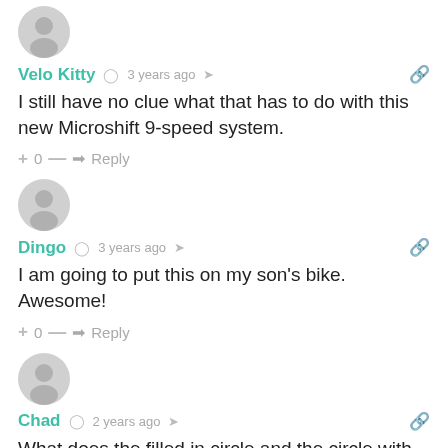[Figure (illustration): Grey circular avatar icon for user Velo Kitty]
Velo Kitty  3 years ago
I still have no clue what that has to do with this new Microshift 9-speed system.
+ 0 —  Reply
[Figure (illustration): Grey circular avatar icon for user Dingo]
Dingo  3 years ago
I am going to put this on my son's bike. Awesome!
+ 0 —  Reply
[Figure (illustration): Grey circular avatar icon for user Chad]
Chad  2 years ago
What does the filled in circle and the circle with